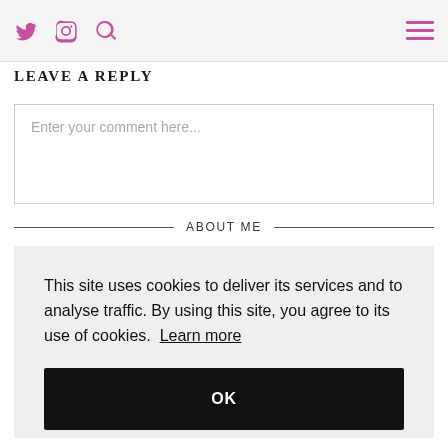[Twitter icon] [Instagram icon] [Search icon] [Hamburger menu]
LEAVE A REPLY
Enter your comment here...
ABOUT ME
This site uses cookies to deliver its services and to analyse traffic. By using this site, you agree to its use of cookies. Learn more
OK